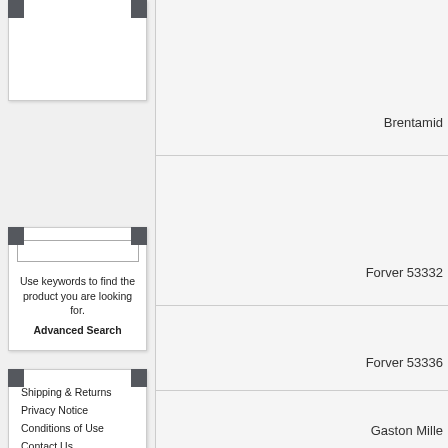[Figure (screenshot): Left sidebar with two UI boxes: a search box with keyword input and Advanced Search link, and an info box with navigation links.]
Use keywords to find the product you are looking for.
Advanced Search
Shipping & Returns
Privacy Notice
Conditions of Use
Contact Us
Brentamid
Forver 53332
Forver 53336
Gaston Mille